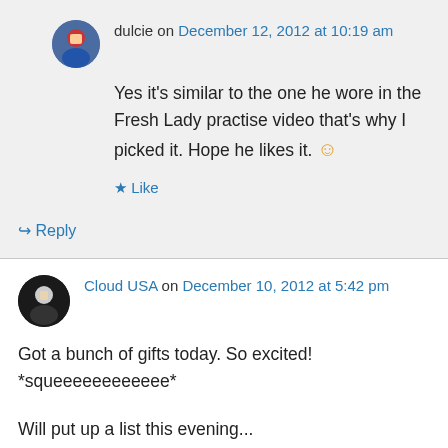dulcie on December 12, 2012 at 10:19 am
Yes it's similar to the one he wore in the Fresh Lady practise video that's why I picked it. Hope he likes it. 🙂
★ Like
↪ Reply
Cloud USA on December 10, 2012 at 5:42 pm
Got a bunch of gifts today. So excited! *squeeeeeeeeeeee*
Will put up a list this evening...